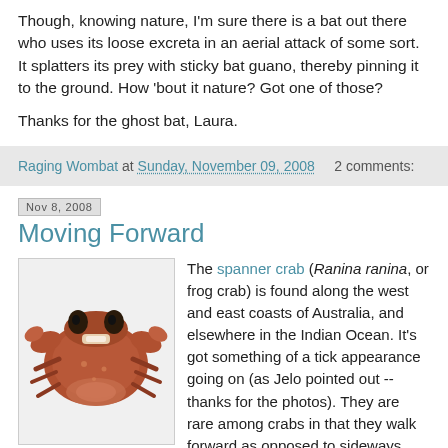Though, knowing nature, I'm sure there is a bat out there who uses its loose excreta in an aerial attack of some sort. It splatters its prey with sticky bat guano, thereby pinning it to the ground. How 'bout it nature? Got one of those?
Thanks for the ghost bat, Laura.
Raging Wombat at Sunday, November 09, 2008   2 comments:
Nov 8, 2008
Moving Forward
[Figure (photo): Photo of a spanner crab (Ranina ranina) viewed from above, showing its reddish-brown shell and claws, resembling a tick in appearance.]
The spanner crab (Ranina ranina, or frog crab) is found along the west and east coasts of Australia, and elsewhere in the Indian Ocean. It's got something of a tick appearance going on (as Jelo pointed out -- thanks for the photos). They are rare among crabs in that they walk forward as opposed to sideways.